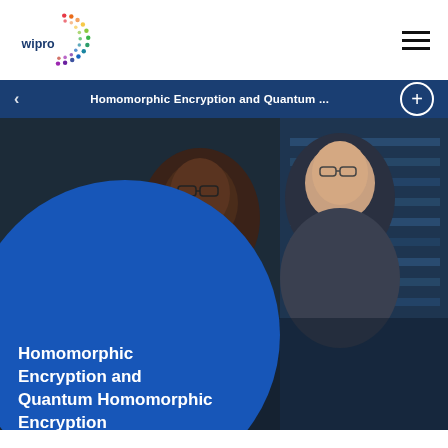[Figure (logo): Wipro logo with colorful dot circle pattern and 'wipro' text]
[Figure (other): Hamburger menu icon (three horizontal lines)]
Homomorphic Encryption and Quantum ...
[Figure (photo): Two men working together looking at a screen, one Black man with glasses and one white man with glasses, in a dark tech environment. A large blue circle overlay contains the article title.]
Homomorphic Encryption and Quantum Homomorphic Encryption